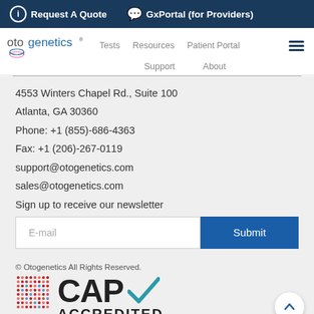Request A Quote   GxPortal (for Providers)
[Figure (screenshot): Otogenetics website navigation bar with logo, Tests, Resources, Patient Portal, Support, About links]
4553 Winters Chapel Rd., Suite 100
Atlanta, GA 30360
Phone: +1 (855)-686-4363
Fax: +1 (206)-267-0119
support@otogenetics.com
sales@otogenetics.com
Sign up to receive our newsletter
E-mail
Submit
© Otogenetics All Rights Reserved.
[Figure (logo): CAP Accredited - College of American Pathologists logo with colorful dot grid pattern and blue checkmark]